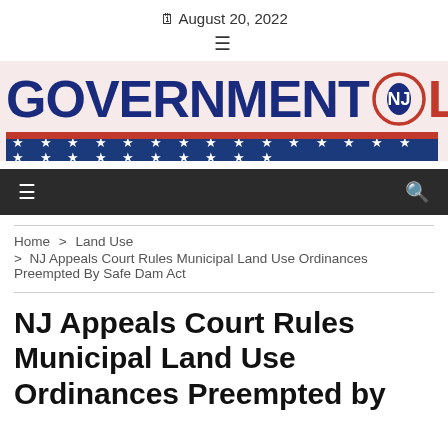August 20, 2022
[Figure (logo): Government NJ Law logo with NJ state outline in red circle, red and blue stripes with stars below]
[Figure (screenshot): Dark navigation bar with hamburger menu icon on left and search icon on right]
Home > Land Use > NJ Appeals Court Rules Municipal Land Use Ordinances Preempted By Safe Dam Act
NJ Appeals Court Rules Municipal Land Use Ordinances Preempted by